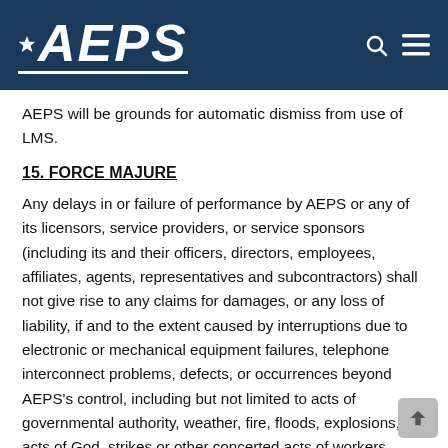AEPS
AEPS will be grounds for automatic dismiss from use of LMS.
15. FORCE MAJURE
Any delays in or failure of performance by AEPS or any of its licensors, service providers, or service sponsors (including its and their officers, directors, employees, affiliates, agents, representatives and subcontractors) shall not give rise to any claims for damages, or any loss of liability, if and to the extent caused by interruptions due to electronic or mechanical equipment failures, telephone interconnect problems, defects, or occurrences beyond AEPS's control, including but not limited to acts of governmental authority, weather, fire, floods, explosions, acts of God, strikes or other concerted acts of workers, riots, armed conflicts, acts of